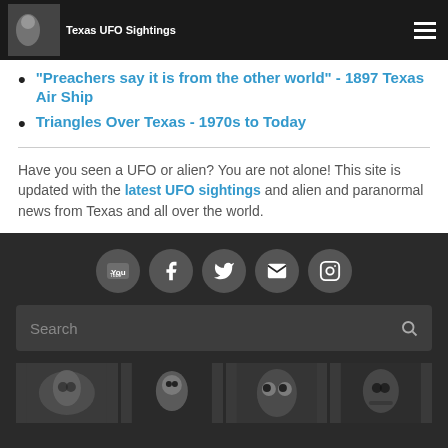Texas UFO Sightings - [navigation bar with logo and hamburger menu]
"Preachers say it is from the other world" - 1897 Texas Air Ship
Triangles Over Texas - 1970s to Today
Have you seen a UFO or alien? You are not alone! This site is updated with the latest UFO sightings and alien and paranormal news from Texas and all over the world.
[Figure (other): Social media icons row: YouTube, Facebook, Twitter, Email, Instagram]
[Figure (other): Search bar with search icon]
[Figure (photo): Strip of four alien/paranormal related images at the bottom of the page]